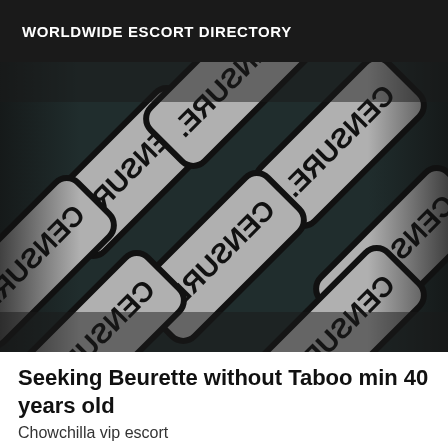WORLDWIDE ESCORT DIRECTORY
[Figure (photo): Multiple grey rounded-rectangle censure stamp tiles arranged diagonally on a dark background, each showing 'CENSURE.' text rotated/mirrored]
Seeking Beurette without Taboo min 40 years old
Chowchilla vip escort